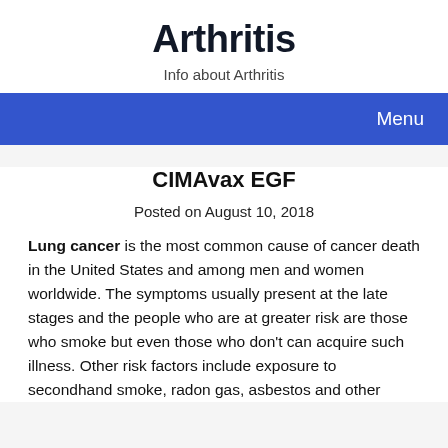Arthritis
Info about Arthritis
Menu
CIMAvax EGF
Posted on August 10, 2018
Lung cancer is the most common cause of cancer death in the United States and among men and women worldwide. The symptoms usually present at the late stages and the people who are at greater risk are those who smoke but even those who don't can acquire such illness. Other risk factors include exposure to secondhand smoke, radon gas, asbestos and other